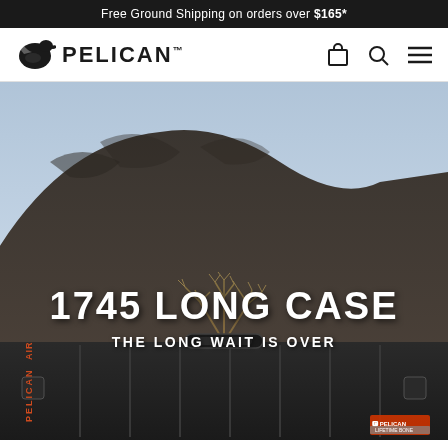Free Ground Shipping on orders over $165*
[Figure (logo): Pelican brand logo with pelican bird icon and PELICAN text in bold]
[Figure (photo): Hero image of Pelican Air 1745 Long Case placed in desert/rocky outdoor setting with mountains and dry brush in background]
1745 LONG CASE
THE LONG WAIT IS OVER